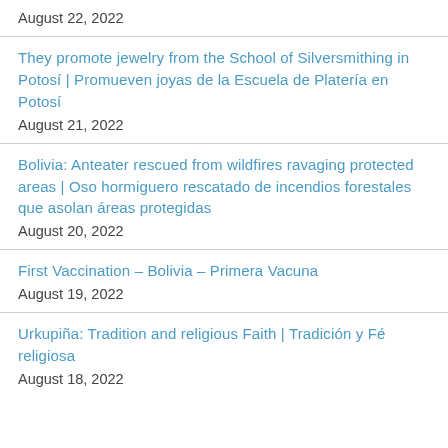August 22, 2022
They promote jewelry from the School of Silversmithing in Potosí | Promueven joyas de la Escuela de Platería en Potosí
August 21, 2022
Bolivia: Anteater rescued from wildfires ravaging protected areas | Oso hormiguero rescatado de incendios forestales que asolan áreas protegidas
August 20, 2022
First Vaccination – Bolivia – Primera Vacuna
August 19, 2022
Urkupiña: Tradition and religious Faith | Tradición y Fé religiosa
August 18, 2022